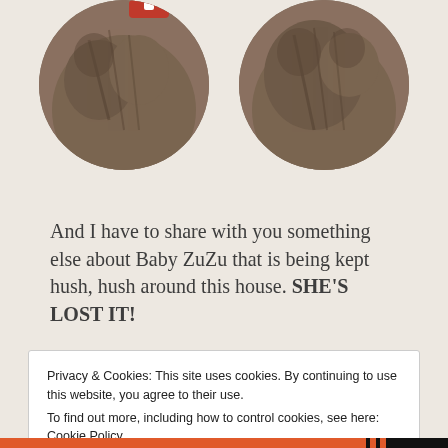[Figure (photo): Two circular cropped photos of cats side by side at the top of the page, partially cut off. The left cat appears to have a red accessory. Both cats are tabby-colored on a beige background.]
And I have to share with you something else about Baby ZuZu that is being kept hush, hush around this house. SHE'S LOST IT!
Privacy & Cookies: This site uses cookies. By continuing to use this website, you agree to their use.
To find out more, including how to control cookies, see here: Cookie Policy
Close and accept